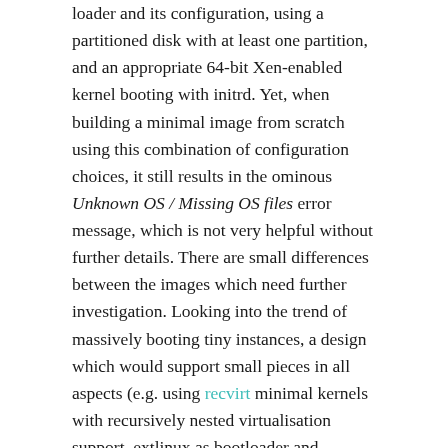loader and its configuration, using a partitioned disk with at least one partition, and an appropriate 64-bit Xen-enabled kernel booting with initrd. Yet, when building a minimal image from scratch using this combination of configuration choices, it still results in the ominous Unknown OS / Missing OS files error message, which is not very helpful without further details. There are small differences between the images which need further investigation. Looking into the trend of massively booting tiny instances, a design which would support small pieces in all aspects (e.g. using recvirt minimal kernels with recursively nested virtualisation support, extlinux as bootloader and partitionless boots with just initrd) would be a helpful innovation to let users experiment with the most recent microservice designs, including the recently proposed clear containers concept.